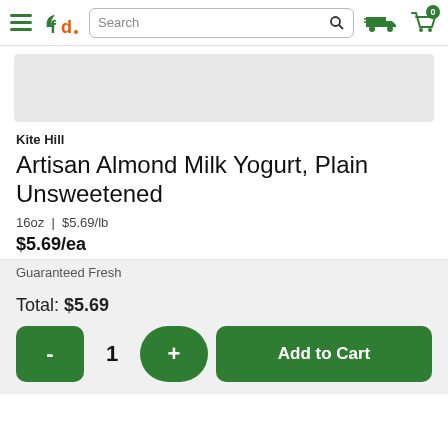fd — FreshDirect navigation header with search bar, delivery icon, and cart (0 items)
[Figure (photo): Product image placeholder area (gray background)]
Kite Hill
Artisan Almond Milk Yogurt, Plain Unsweetened
16oz | $5.69/lb
$5.69/ea
Guaranteed Fresh
Total: $5.69
- 1 + Add to Cart